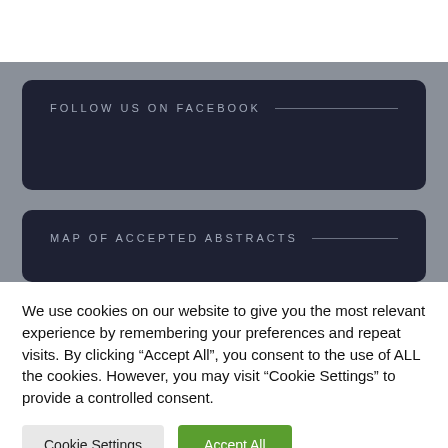FOLLOW US ON FACEBOOK
MAP OF ACCEPTED ABSTRACTS
We use cookies on our website to give you the most relevant experience by remembering your preferences and repeat visits. By clicking “Accept All”, you consent to the use of ALL the cookies. However, you may visit "Cookie Settings" to provide a controlled consent.
Cookie Settings
Accept All